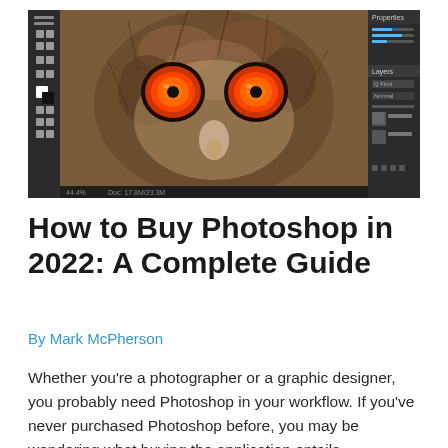[Figure (screenshot): Screenshot of Adobe Photoshop interface showing a close-up photo of an owl's face with glowing orange-red eyes. The Photoshop toolbars and panels are visible on the left and right sides of the interface.]
How to Buy Photoshop in 2022: A Complete Guide
By Mark McPherson
Whether you're a photographer or a graphic designer, you probably need Photoshop in your workflow. If you've never purchased Photoshop before, you may be wondering what buying the application entails. …